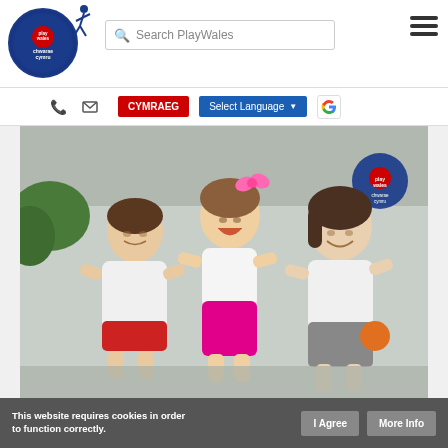[Figure (logo): Play Wales / Chwarae Cymru logo — blue circle with red inner circle and white text, jumping figure silhouette]
[Figure (screenshot): Search PlayWales search bar with magnifying glass icon]
[Figure (other): Hamburger menu icon (three horizontal lines)]
[Figure (other): Navigation sub-bar with phone icon, mail icon, CYMRAEG red button, Select Language blue dropdown, Google G icon]
[Figure (photo): Photo of three children/people laughing and sliding — one older girl on left in white t-shirt, a toddler in the middle with pink bow and magenta pants, and a young woman on right in white shirt, all on what appears to be a large inflatable slide, Play Wales logo visible top right of photo]
This website requires cookies in order to function correctly.
I Agree
More Info